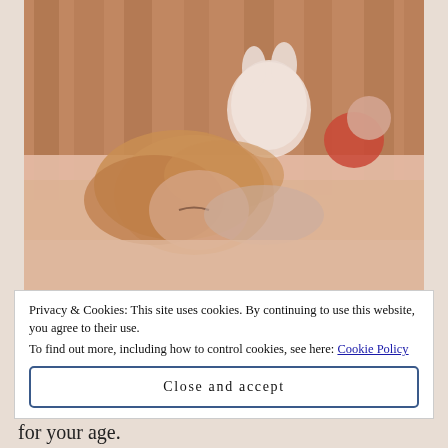[Figure (photo): A young child with blonde hair sleeping on a bed, face-down on a pillow, with a white stuffed animal toy (bunny) and a red toy/doll nearby. The background shows wooden slats (crib or bed frame). Warm, muted tones.]
Privacy & Cookies: This site uses cookies. By continuing to use this website, you agree to their use.
To find out more, including how to control cookies, see here: Cookie Policy
Close and accept
for your age.